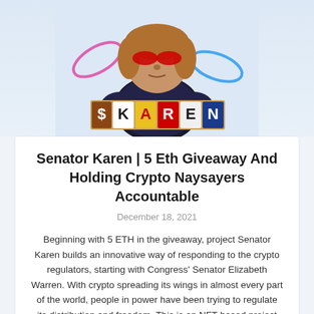[Figure (illustration): Illustrated collage of a woman with red markings on her face wearing a dark top, with colorful ransom-note style letters spelling out '$KAREN' in front of her, with pink and blue swirl decorations]
Senator Karen | 5 Eth Giveaway And Holding Crypto Naysayers Accountable
December 18, 2021
Beginning with 5 ETH in the giveaway, project Senator Karen builds an innovative way of responding to the crypto regulators, starting with Congress' Senator Elizabeth Warren. With crypto spreading its wings in almost every part of the world, people in power have been trying to regulate its distribution and freedom. This is an NFT-based project with 100